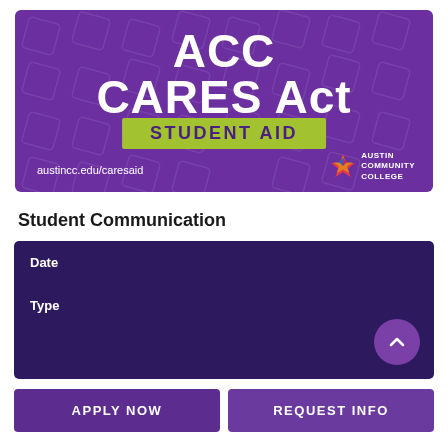[Figure (illustration): ACC CARES Act Student Aid promotional banner with purple background, yellow-green 'STUDENT AID' box, austin community college logo, and website URL austincc.edu/caresaid]
Student Communication
| Date | Type |
| --- | --- |
APPLY NOW
REQUEST INFO